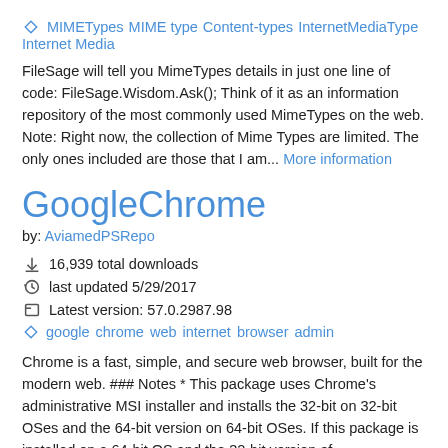🏷 MIMETypes MIME type Content-types InternetMediaType Internet Media
FileSage will tell you MimeTypes details in just one line of code: FileSage.Wisdom.Ask(); Think of it as an information repository of the most commonly used MimeTypes on the web. Note: Right now, the collection of Mime Types are limited. The only ones included are those that I am... More information
GoogleChrome
by: AviamedPSRepo
16,939 total downloads
last updated 5/29/2017
Latest version: 57.0.2987.98
google chrome web internet browser admin
Chrome is a fast, simple, and secure web browser, built for the modern web. ### Notes * This package uses Chrome's administrative MSI installer and installs the 32-bit on 32-bit OSes and the 64-bit version on 64-bit OSes. If this package is installed on a 64-bit OS and the 32-bit version of